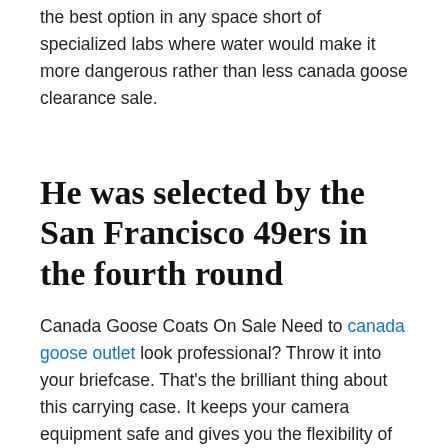the best option in any space short of specialized labs where water would make it more dangerous rather than less canada goose clearance sale.
He was selected by the San Francisco 49ers in the fourth round
Canada Goose Coats On Sale Need to canada goose outlet look professional? Throw it into your briefcase. That's the brilliant thing about this carrying case. It keeps your camera equipment safe and gives you the flexibility of choosing what you actually put on your shoulder. I work three jobs and will use this for two of them. So it will be in and out of my bag a lot. I read a lot of reviews for different skins to find one that would come off easily. Canada Goose Coats On Sale